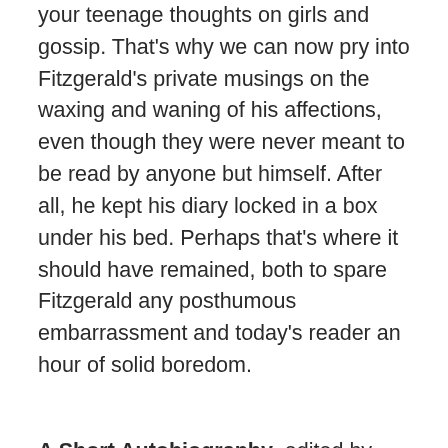your teenage thoughts on girls and gossip. That's why we can now pry into Fitzgerald's private musings on the waxing and waning of his affections, even though they were never meant to be read by anyone but himself. After all, he kept his diary locked in a box under his bed. Perhaps that's where it should have remained, both to spare Fitzgerald any posthumous embarrassment and today's reader an hour of solid boredom.
A Short Autobiography, edited by James L. W. West III
Fitzgerald never worked on an